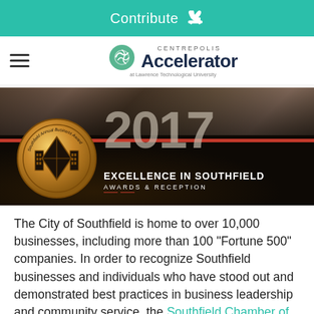Contribute
[Figure (logo): Centrepolis Accelerator at Lawrence Technological University logo with green circular icon]
[Figure (photo): 2017 Excellence in Southfield Awards & Reception banner with medal and crowd of people]
The City of Southfield is home to over 10,000 businesses, including more than 100 “Fortune 500” companies. In order to recognize Southfield businesses and individuals who have stood out and demonstrated best practices in business leadership and community service, the Southfield Chamber of Commerce hosts an annual Excellence in Southfield Awards and Reception Ceremony.